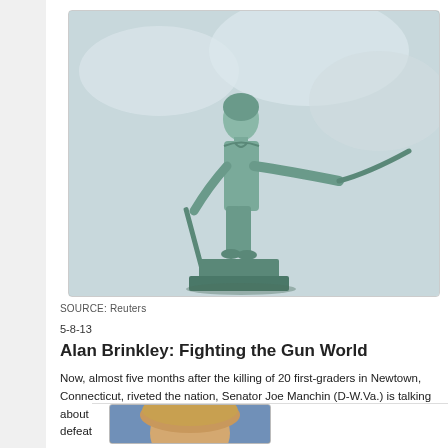[Figure (photo): Bronze statue of a minuteman or colonial soldier holding a musket, photographed against a cloudy sky with greenish patina coloring]
SOURCE: Reuters
5-8-13
Alan Brinkley: Fighting the Gun World
Now, almost five months after the killing of 20 first-graders in Newtown, Connecticut, riveted the nation, Senator Joe Manchin (D-W.Va.) is talking about trying to resurrect his bill on gun background checks that was defeated in the Senate last month.
[Figure (photo): Partial photo of a person at the bottom of the page, cropped]